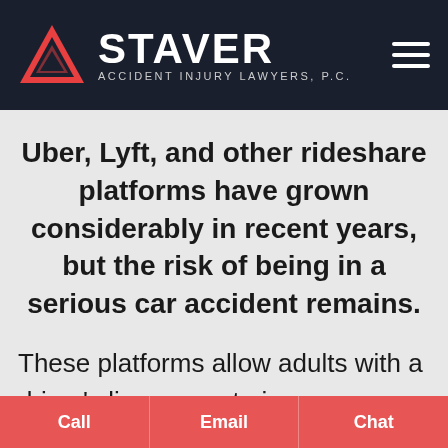[Figure (logo): Staver Accident Injury Lawyers P.C. logo with red triangle and white text on dark navy background, with hamburger menu icon]
Uber, Lyft, and other rideshare platforms have grown considerably in recent years, but the risk of being in a serious car accident remains.
These platforms allow adults with a driver's license, auto insurance, and a clean record to become personal drivers
Call | Email | Chat